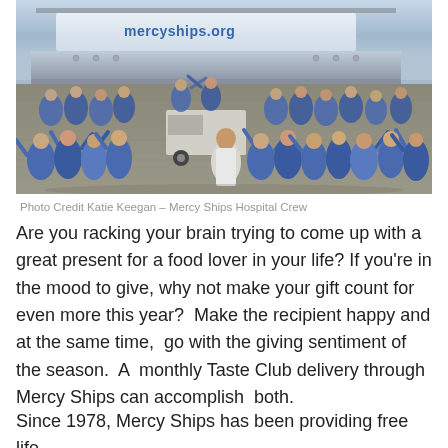[Figure (photo): Large group photo of Mercy Ships hospital crew in blue scrubs/uniforms, waving and cheering in front of a large white hospital ship with 'mercyships.org' written on the hull, docked at a port.]
Photo Credit Katie Keegan – Mercy Ships Hospital Crew
Are you racking your brain trying to come up with a great present for a food lover in your life? If you're in the mood to give, why not make your gift count for even more this year?  Make the recipient happy and at the same time,  go with the giving sentiment of the season.  A  monthly Taste Club delivery through Mercy Ships can accomplish  both.
Since 1978, Mercy Ships has been providing free life